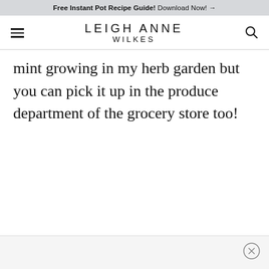Free Instant Pot Recipe Guide! Download Now! →
LEIGH ANNE WILKES
mint growing in my herb garden but you can pick it up in the produce department of the grocery store too!